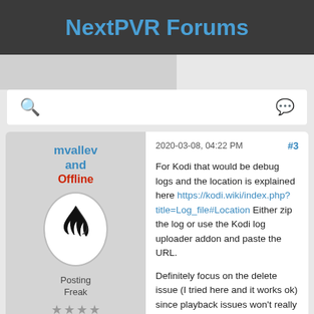NextPVR Forums
[Figure (screenshot): Navigation bar with gray left panel and white right panel]
[Figure (screenshot): Search bar with search icon on left and chat bubble icon on right]
mvallevand
Offline
[Figure (illustration): Oval avatar with black claw/feather logo on white background]
Posting Freak
★★★★
Ontario
Canada
2020-03-08, 04:22 PM
#3

For Kodi that would be debug logs and the location is explained here https://kodi.wiki/index.php?title=Log_file#Location Either zip the log or use the Kodi log uploader addon and paste the URL.

Definitely focus on the delete issue (I tried here and it works ok) since playback issues won't really be related to the addon. There is a crashing bug with live tv that I am waiting for sub to release, but